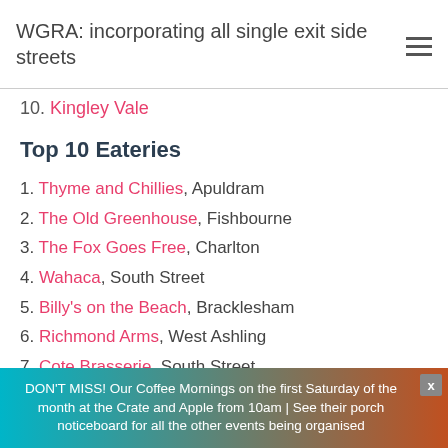WGRA: incorporating all single exit side streets
10. Kingley Vale
Top 10 Eateries
1. Thyme and Chillies, Apuldram
2. The Old Greenhouse, Fishbourne
3. The Fox Goes Free, Charlton
4. Wahaca, South Street
5. Billy's on the Beach, Bracklesham
6. Richmond Arms, West Ashling
7. Cote Brasserie, South Street
DON'T MISS! Our Coffee Mornings on the first Saturday of the month at the Crate and Apple from 10am | See their porch noticeboard for all the other events being organised